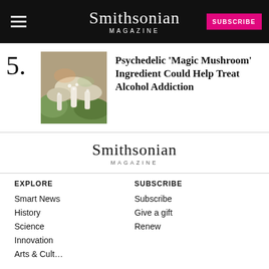Smithsonian MAGAZINE — SUBSCRIBE
5. Psychedelic 'Magic Mushroom' Ingredient Could Help Treat Alcohol Addiction
[Figure (photo): Close-up photo of magic mushrooms]
[Figure (logo): Smithsonian Magazine footer logo]
EXPLORE
Smart News
History
Science
Innovation
Arts & Culture
SUBSCRIBE
Subscribe
Give a gift
Renew